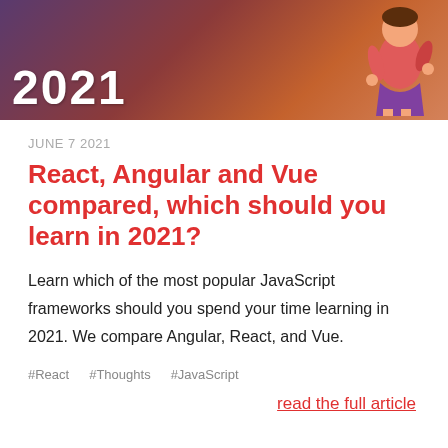[Figure (illustration): Hero banner image with gradient background (purple to orange-brown) showing the year '2021' in large white bold text and a cartoon illustration of a person on the right side]
JUNE 7 2021
React, Angular and Vue compared, which should you learn in 2021?
Learn which of the most popular JavaScript frameworks should you spend your time learning in 2021. We compare Angular, React, and Vue.
#React
#Thoughts
#JavaScript
read the full article